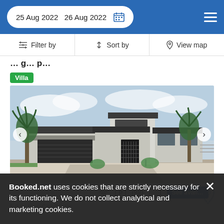25 Aug 2022  26 Aug 2022
Filter by  |  Sort by  |  View map
Villa
[Figure (photo): Modern single-story luxury villa with gray stucco exterior, large dark garage door, glass-panel front door, palm trees, and white gravel landscaping under a partly cloudy sky.]
5.0 mi from City Center
Booked.net uses cookies that are strictly necessary for its functioning. We do not collect analytical and marketing cookies.